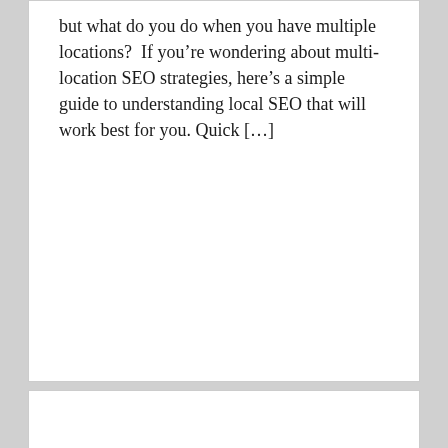but what do you do when you have multiple locations?  If you're wondering about multi-location SEO strategies, here's a simple guide to understanding local SEO that will work best for you. Quick […]